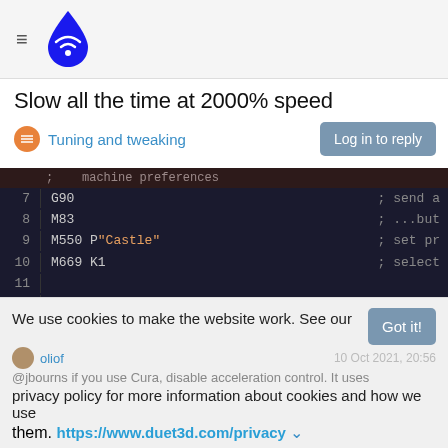Duet3D forum header with hamburger menu and logo
Slow all the time at 2000% speed
Tuning and tweaking | Log in to reply
[Figure (screenshot): Code editor screenshot showing G-code lines 7-13 with dark background. Lines: 7 G90 ; send a, 8 M83 ; ...but, 9 M550 P"Castle" ; set pr, 10 M669 K1 ; select, 11 (blank), 12 ; Network, 13 M550 PCaslte ; Set mach]
1 Reply >
0
We use cookies to make the website work. See our privacy policy for more information about cookies and how we use them. https://www.duet3d.com/privacy
oliof  10 Oct 2021, 20:56  @jbourns if you use Cura, disable acceleration control. It uses